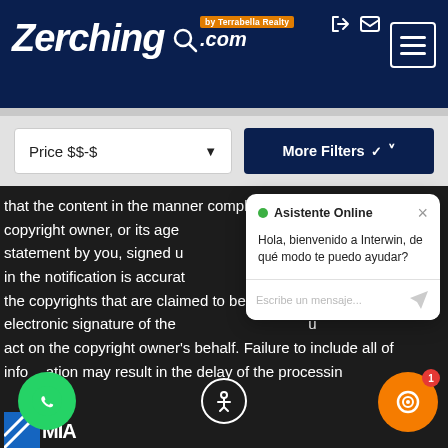[Figure (logo): Zerching.com by Terrabella Realty logo on dark navy header]
[Figure (screenshot): Price $$-$ dropdown filter and More Filters button in grey filter bar]
that the content in the manner complained of is not authorized by the copyright owner, or its agent, or the law; (5) a statement by you, signed under penalty of perjury, that the information in the notification is accurate, and that you have authority to act on behalf of the owner of the copyrights that are claimed to be infringed; and (6) a physical or electronic signature of the owner, or a person authorized to act on the copyright owner's behalf. Failure to include all of the above information may result in the delay of the processing of your
[Figure (screenshot): Online chat assistant popup: Asistente Online with green dot, message 'Hola, bienvenido a Interwin, de qué modo te puedo ayudar?' and message input field]
[Figure (screenshot): WhatsApp floating button (green circle), accessibility icon (white circle), orange chat button with notification badge '1', and partial Miami logo at bottom]